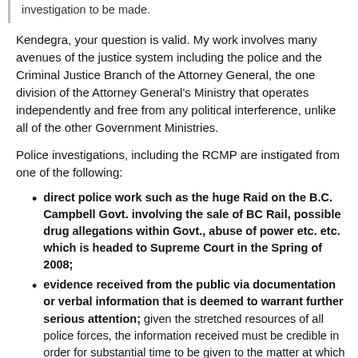investigation to be made.
Kendegra, your question is valid. My work involves many avenues of the justice system including the police and the Criminal Justice Branch of the Attorney General, the one division of the Attorney General's Ministry that operates independently and free from any political interference, unlike all of the other Government Ministries.
Police investigations, including the RCMP are instigated from one of the following:
direct police work such as the huge Raid on the B.C. Campbell Govt. involving the sale of BC Rail, possible drug allegations within Govt., abuse of power etc. etc. which is headed to Supreme Court in the Spring of 2008;
evidence received from the public via documentation or verbal information that is deemed to warrant further serious attention; given the stretched resources of all police forces, the information received must be credible in order for substantial time to be given to the matter at which time a file is opened; the interest of someone having